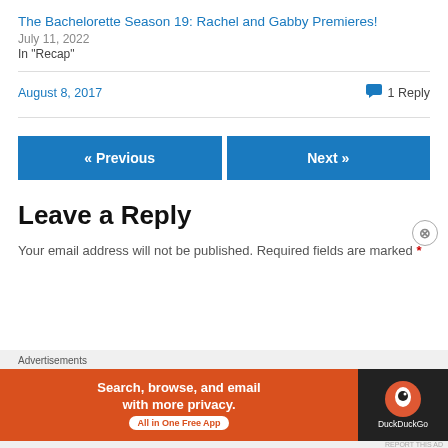The Bachelorette Season 19: Rachel and Gabby Premieres!
July 11, 2022
In "Recap"
August 8, 2017
1 Reply
« Previous
Next »
Leave a Reply
Your email address will not be published. Required fields are marked *
[Figure (other): DuckDuckGo advertisement banner: orange left panel with text 'Search, browse, and email with more privacy. All in One Free App' and dark right panel with DuckDuckGo logo and name.]